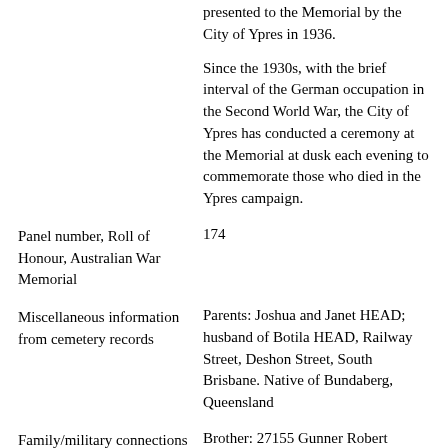presented to the Memorial by the City of Ypres in 1936.
Since the 1930s, with the brief interval of the German occupation in the Second World War, the City of Ypres has conducted a ceremony at the Memorial at dusk each evening to commemorate those who died in the Ypres campaign.
Panel number, Roll of Honour, Australian War Memorial
174
Miscellaneous information from cemetery records
Parents: Joshua and Janet HEAD; husband of Botila HEAD, Railway Street, Deshon Street, South Brisbane. Native of Bundaberg, Queensland
Family/military connections
Brother: 27155 Gunner Robert HEAD, 8th Field Artillery Brigade, died of wounds, 12 May 1918.